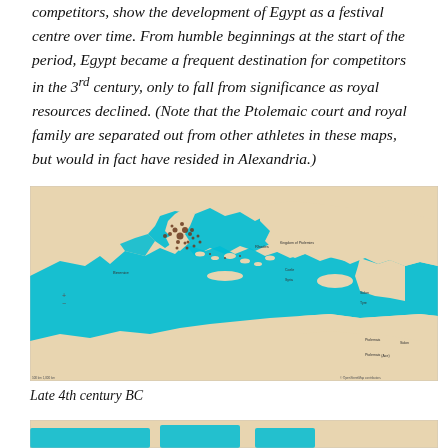competitors, show the development of Egypt as a festival centre over time. From humble beginnings at the start of the period, Egypt became a frequent destination for competitors in the 3rd century, only to fall from significance as royal resources declined. (Note that the Ptolemaic court and royal family are separated out from other athletes in these maps, but would in fact have resided in Alexandria.)
[Figure (map): Map of the Mediterranean region showing the eastern Mediterranean Sea in turquoise/cyan, with land masses in sandy/tan color. Brown clusters of dots appear concentrated in the Greece/Aegean region indicating competitor locations. Small place labels are visible. The map shows the Late 4th century BC distribution.]
Late 4th century BC
[Figure (map): Partial view of a second map (cropped at bottom of page), showing similar Mediterranean region map.]